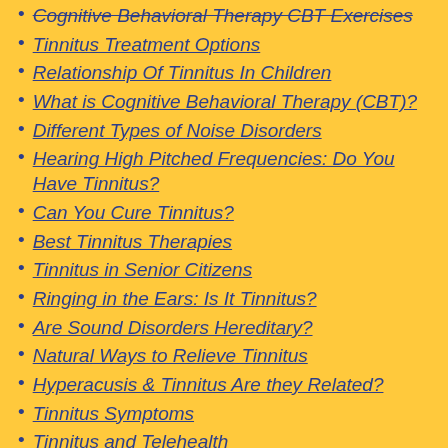Cognitive Behavioral Therapy CBT Exercises
Tinnitus Treatment Options
Relationship Of Tinnitus In Children
What is Cognitive Behavioral Therapy (CBT)?
Different Types of Noise Disorders
Hearing High Pitched Frequencies: Do You Have Tinnitus?
Can You Cure Tinnitus?
Best Tinnitus Therapies
Tinnitus in Senior Citizens
Ringing in the Ears: Is It Tinnitus?
Are Sound Disorders Hereditary?
Natural Ways to Relieve Tinnitus
Hyperacusis & Tinnitus Are they Related?
Tinnitus Symptoms
Tinnitus and Telehealth
Sound Sensitivity Causes & Treatment
OCD and Tinnitus
Hyperacusis & Tinnitus Are they Related?
Pulsatile Tinnitus Specialist
Is Telemedicine a Possible Treatment for Sound Disorders?
Hyperacusis & Tinnitus: Are they Related?
Does Tinnitus Go Away?